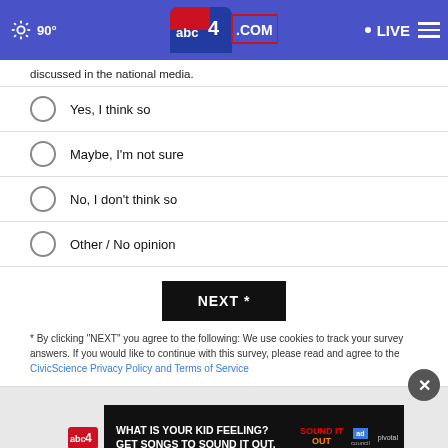90° | abc4.com | LIVE
discussed in the national media.
Yes, I think so
Maybe, I'm not sure
No, I don't think so
Other / No opinion
NEXT *
* By clicking "NEXT" you agree to the following: We use cookies to track your survey answers. If you would like to continue with this survey, please read and agree to the CivicScience Privacy Policy and Terms of Service
[Figure (screenshot): Advertisement banner: 'WHAT IS YOUR KID FEELING? GET SONGS TO SOUND IT OUT.' with Sound It Out and Ad Council / Pivotal logos. ABC 4 Daily News watermark visible behind.]